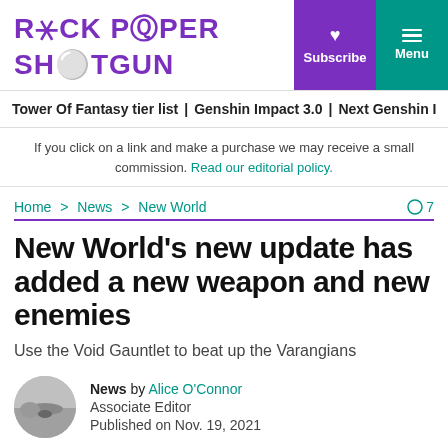ROCK PAPER SHOTGUN
Subscribe | Menu
Tower Of Fantasy tier list | Genshin Impact 3.0 | Next Genshin I
If you click on a link and make a purchase we may receive a small commission. Read our editorial policy.
Home > News > New World  ○7
New World's new update has added a new weapon and new enemies
Use the Void Gauntlet to beat up the Varangians
News by Alice O'Connor
Associate Editor
Published on Nov. 19, 2021